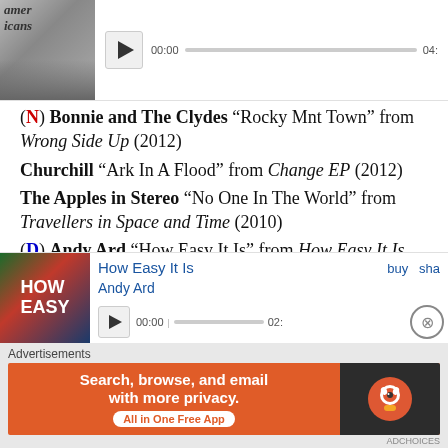[Figure (screenshot): Music player widget showing album art and playback controls with time 00:00 and 04:]
(N) Bonnie and The Clydes “Rocky Mnt Town” from Wrong Side Up (2012)
Churchill “Ark In A Flood” from Change EP (2012)
The Apples in Stereo “No One In The World” from Travellers in Space and Time (2010)
(D) Andy Ard “How Easy It Is” from How Easy It Is (2012)
[Figure (screenshot): Music player widget for How Easy It Is by Andy Ard with buy/share links and playback controls]
Advertisements
[Figure (screenshot): DuckDuckGo advertisement banner: Search, browse, and email with more privacy. All in One Free App]